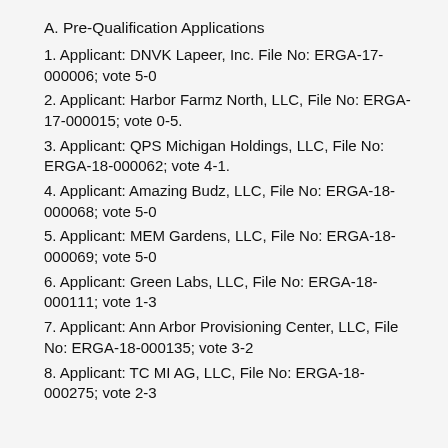A. Pre-Qualification Applications
1. Applicant: DNVK Lapeer, Inc. File No: ERGA-17-000006; vote 5-0
2. Applicant: Harbor Farmz North, LLC, File No: ERGA-17-000015; vote 0-5.
3. Applicant: QPS Michigan Holdings, LLC, File No: ERGA-18-000062; vote 4-1.
4. Applicant: Amazing Budz, LLC, File No: ERGA-18-000068; vote 5-0
5. Applicant: MEM Gardens, LLC, File No: ERGA-18-000069; vote 5-0
6. Applicant: Green Labs, LLC, File No: ERGA-18-000111; vote 1-3
7. Applicant: Ann Arbor Provisioning Center, LLC, File No: ERGA-18-000135; vote 3-2
8. Applicant: TC MI AG, LLC, File No: ERGA-18-000275; vote 2-3